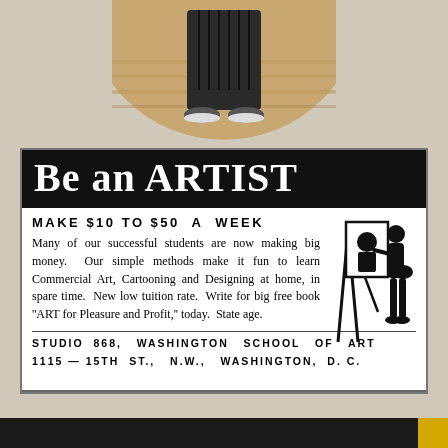[Figure (photo): Circular cropped photo showing a person from the waist down standing on a wooden floor, wearing dark pleated skirt/pants and sneakers.]
[Figure (illustration): Vintage advertisement for Washington School of Art. Contains a bold black header 'Be an ARTIST', body text about making $10 to $50 a week, and a silhouette illustration of an artist painting at an easel. Address: Studio 868, Washington School of Art, 1115-15th St., N.W., Washington, D.C.]
[Figure (other): Dark bar at the bottom of the page with a yellow square in the bottom right corner.]